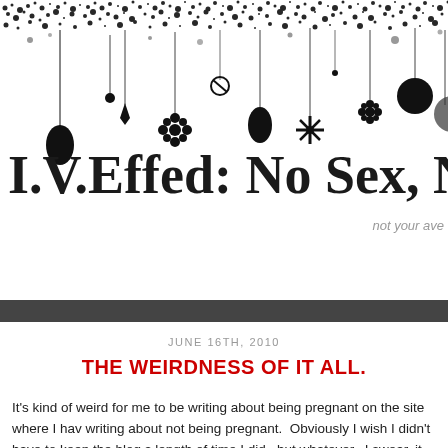[Figure (illustration): Decorative black and white hanging ornaments and snowflake-style flowers banner at the top of the blog page]
I.V.Effed: No Sex, No
not your ave
JUNE 16TH, 2010
THE WEIRDNESS OF IT ALL.
It's kind of weird for me to be writing about being pregnant on the site where I have writing about not being pregnant.  Obviously I wish I didn't have to keep the blog s length of time I did...but whatever.  I swear, it seems like water under the bridge n